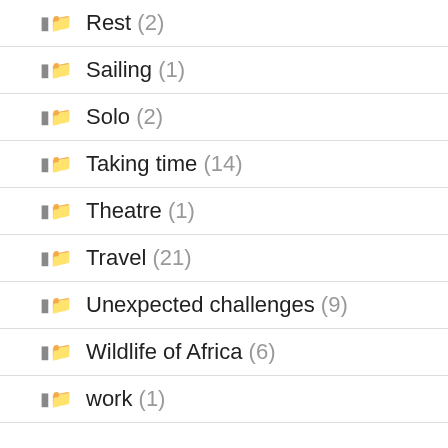Rest (2)
Sailing (1)
Solo (2)
Taking time (14)
Theatre (1)
Travel (21)
Unexpected challenges (9)
Wildlife of Africa (6)
work (1)